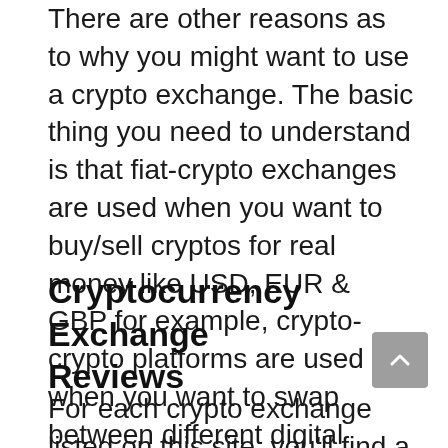There are other reasons as to why you might want to use a crypto exchange. The basic thing you need to understand is that fiat-crypto exchanges are used when you want to buy/sell cryptos for real money like USD, EUR & GBP for example, crypto-crypto platforms are used when you want to swap between different digital currencies and crypto derivatives platforms are for when you want to trade crypto with leverage for quicker results and increased profits.
Cryptocurrency Exchange Reviews
For each crypto exchange listed on this site, you'll find a detailed review written by our